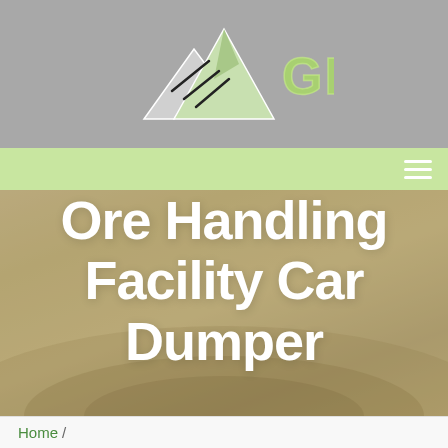[Figure (logo): GBM company logo with mountain/triangle graphic and green text 'GBM']
[Figure (other): Green navigation bar with hamburger menu icon on right]
Ore Handling Facility Car Dumper
Home /